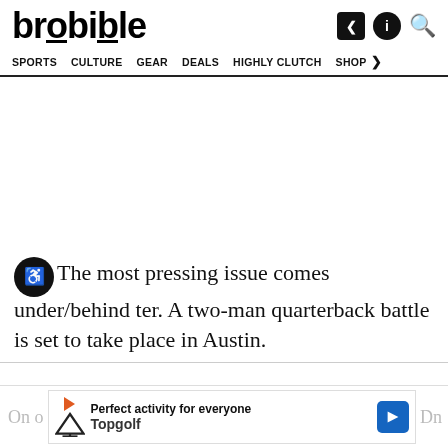brobible — SPORTS | CULTURE | GEAR | DEALS | HIGHLY CLUTCH | SHOP
The most pressing issue comes under/behind ter. A two-man quarterback battle is set to take place in Austin.
[Figure (other): Topgolf advertisement banner: 'Perfect activity for everyone — Topgolf']
On or... On